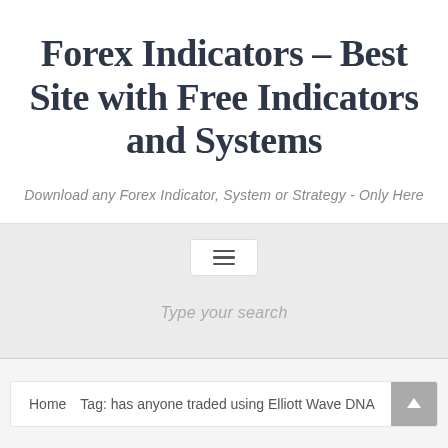Forex Indicators – Best Site with Free Indicators and Systems
Download any Forex Indicator, System or Strategy - Only Here
[Figure (screenshot): Navigation hamburger menu button icon with three horizontal lines]
Type your search
Home   Tag: has anyone traded using Elliott Wave DNA